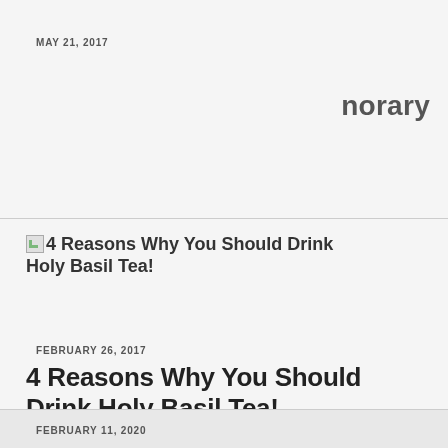MAY 21, 2017
norary
4 Reasons Why You Should Drink Holy Basil Tea!
FEBRUARY 26, 2017
4 Reasons Why You Should Drink Holy Basil Tea!
FEBRUARY 11, 2020